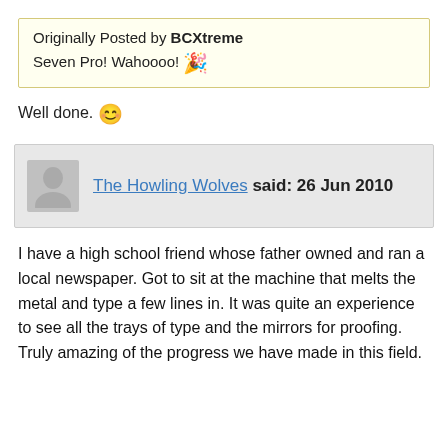Originally Posted by BCXtreme
Seven Pro! Wahoooo! 🎉
Well done. 😊
The Howling Wolves said: 26 Jun 2010
I have a high school friend whose father owned and ran a local newspaper. Got to sit at the machine that melts the metal and type a few lines in. It was quite an experience to see all the trays of type and the mirrors for proofing. Truly amazing of the progress we have made in this field.